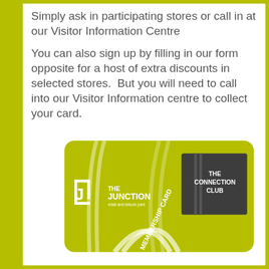Simply ask in participating stores or call in at our Visitor Information Centre
You can also sign up by filling in our form opposite for a host of extra discounts in selected stores.  But you will need to call into our Visitor Information centre to collect your card.
[Figure (illustration): The Junction retail and leisure park - The Connection Club Membership Card. A yellow-green card with white decorative stripe lines, the Junction logo on the left, and a dark grey rectangle on the right reading 'THE CONNECTION CLUB' with 'MEMBERSHIP CARD' text in the middle.]